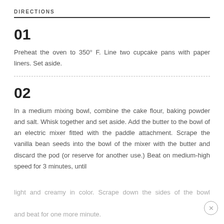DIRECTIONS
01
Preheat the oven to 350° F.  Line two cupcake pans with paper liners.  Set aside.
02
In a medium mixing bowl, combine the cake flour, baking powder and salt.  Whisk together and set aside.  Add the butter to the bowl of an electric mixer fitted with the paddle attachment.  Scrape the vanilla bean seeds into the bowl of the mixer with the butter and discard the pod (or reserve for another use.)  Beat on medium-high speed for 3 minutes, until light and creamy in color.  Scrape down the sides of the bowl and beat for one more minute.